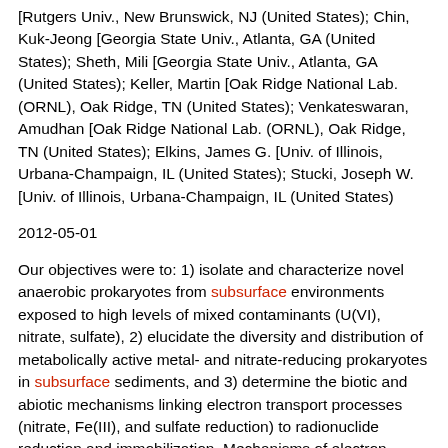[Rutgers Univ., New Brunswick, NJ (United States); Chin, Kuk-Jeong [Georgia State Univ., Atlanta, GA (United States); Sheth, Mili [Georgia State Univ., Atlanta, GA (United States); Keller, Martin [Oak Ridge National Lab. (ORNL), Oak Ridge, TN (United States); Venkateswaran, Amudhan [Oak Ridge National Lab. (ORNL), Oak Ridge, TN (United States); Elkins, James G. [Univ. of Illinois, Urbana-Champaign, IL (United States); Stucki, Joseph W. [Univ. of Illinois, Urbana-Champaign, IL (United States)
2012-05-01
Our objectives were to: 1) isolate and characterize novel anaerobic prokaryotes from subsurface environments exposed to high levels of mixed contaminants (U(VI), nitrate, sulfate), 2) elucidate the diversity and distribution of metabolically active metal- and nitrate-reducing prokaryotes in subsurface sediments, and 3) determine the biotic and abiotic mechanisms linking electron transport processes (nitrate, Fe(III), and sulfate reduction) to radionuclide reduction and immobilization. Mechanisms of electron transport and U(VI) transformation were examined under near in situ conditions in sediment microcosms and in field investigations. Field sampling was